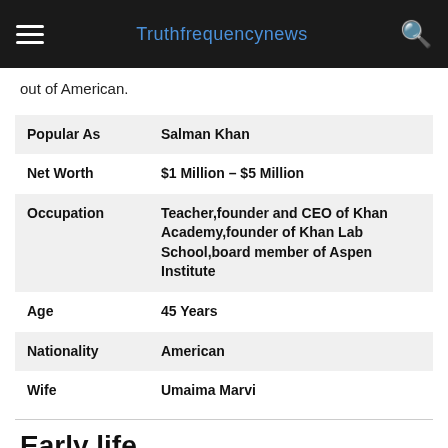Truthfrequencynews
out of American.
| Popular As | Salman Khan |
| Net Worth | $1 Million – $5 Million |
| Occupation | Teacher,founder and CEO of Khan Academy,founder of Khan Lab School,board member of Aspen Institute |
| Age | 45 Years |
| Nationality | American |
| Wife | Umaima Marvi |
Early life
Sal Khan, also known as Salah, is a prominent Pakistani academic and a professor emeritus at Columbia University in